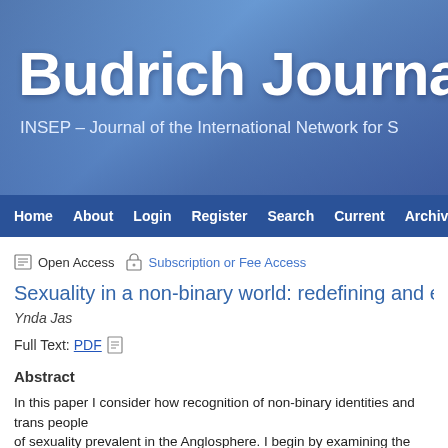Budrich Journa
INSEP – Journal of the International Network for S
Home  About  Login  Register  Search  Current  Archives  O
Open Access   Subscription or Fee Access
Sexuality in a non-binary world: redefining and expanding the
Ynda Jas
Full Text: PDF
Abstract
In this paper I consider how recognition of non-binary identities and trans people of sexuality prevalent in the Anglosphere. I begin by examining the relationship b discuss linguistic innovations arising from the asexual (and aromantic) communit non-binary inclusion that exist with the current language. Next I use speculative,